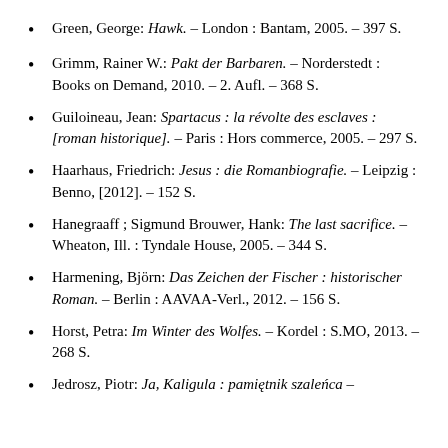Green, George: Hawk. – London : Bantam, 2005. – 397 S.
Grimm, Rainer W.: Pakt der Barbaren. – Norderstedt : Books on Demand, 2010. – 2. Aufl. – 368 S.
Guiloineau, Jean: Spartacus : la révolte des esclaves : [roman historique]. – Paris : Hors commerce, 2005. – 297 S.
Haarhaus, Friedrich: Jesus : die Romanbiografie. – Leipzig : Benno, [2012]. – 152 S.
Hanegraaff ; Sigmund Brouwer, Hank: The last sacrifice. – Wheaton, Ill. : Tyndale House, 2005. – 344 S.
Harmening, Björn: Das Zeichen der Fischer : historischer Roman. – Berlin : AAVAA-Verl., 2012. – 156 S.
Horst, Petra: Im Winter des Wolfes. – Kordel : S.MO, 2013. – 268 S.
Jedrosz, Piotr: Ja, Kaligula : pamiętnik szaleńca –